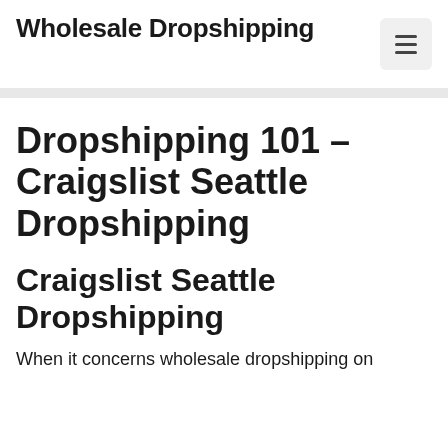Wholesale Dropshipping
Dropshipping 101 – Craigslist Seattle Dropshipping
Craigslist Seattle Dropshipping
When it concerns wholesale dropshipping on